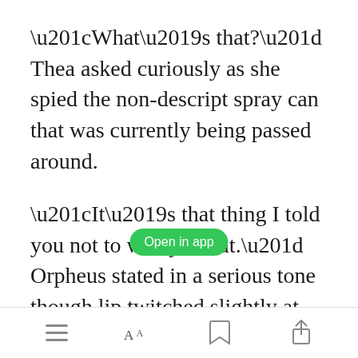“What’s that?” Thea asked curiously as she spied the non-descript spray can that was currently being passed around.
“It’s that thing I told you not to worry about.” Orpheus stated in a serious tone though lip twitched slightly at the corners once he got to her. “It’s a scent masking spray. It lasts for a couple of hours so we
[Figure (screenshot): Green 'Open in app' button overlay]
Navigation bar with menu, font, bookmark, and share icons